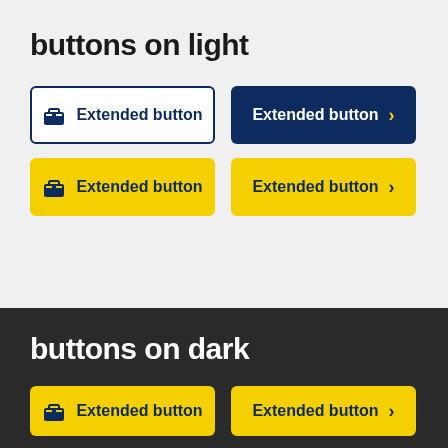buttons on light
[Figure (illustration): Four extended buttons on light grey background: outlined white button with briefcase icon and text 'Extended button', dark navy filled button with text 'Extended button' and yellow chevron, yellow button with briefcase icon and text 'Extended button', yellow button with text 'Extended button' and dark chevron.]
buttons on dark
[Figure (illustration): Buttons on dark background section, partially visible: yellow button with briefcase icon, and yellow outlined button with chevron.]